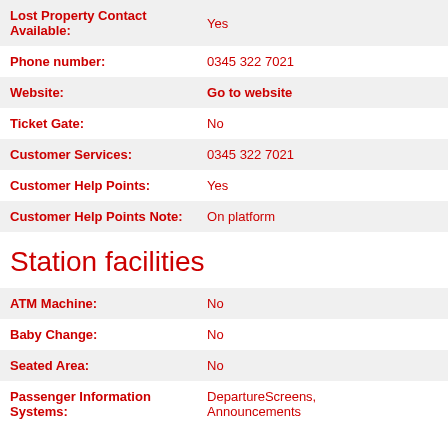| Field | Value |
| --- | --- |
| Lost Property Contact Available: | Yes |
| Phone number: | 0345 322 7021 |
| Website: | Go to website |
| Ticket Gate: | No |
| Customer Services: | 0345 322 7021 |
| Customer Help Points: | Yes |
| Customer Help Points Note: | On platform |
Station facilities
| Field | Value |
| --- | --- |
| ATM Machine: | No |
| Baby Change: | No |
| Seated Area: | No |
| Passenger Information Systems: | DepartureScreens, Announcements |